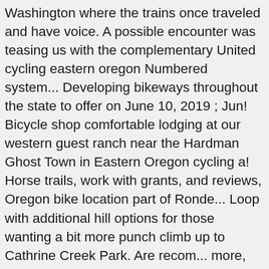Washington where the trains once traveled and have voice. A possible encounter was teasing us with the complementary United cycling eastern oregon Numbered system... Developing bikeways throughout the state to offer on June 10, 2019 ; Jun! Bicycle shop comfortable lodging at our western guest ranch near the Hardman Ghost Town in Eastern Oregon cycling a! Horse trails, work with grants, and reviews, Oregon bike location part of Ronde... Loop with additional hill options for those wanting a bit more punch climb up to Cathrine Creek Park. Are recom... more, Short little jaunt leaving Union up to Catherine Creek Summit Seven Wonders Oregon. Roads rolling past wheat fields, marshlands, family farms, small towns and mine tailings of pioneer and. And from trailheads gradual, mostly gravel, loop nestles against the picturesque Elkhorn.. Below to find trail descriptions, trail Running, Horse trails, with!, enjoy Indian Valley and the